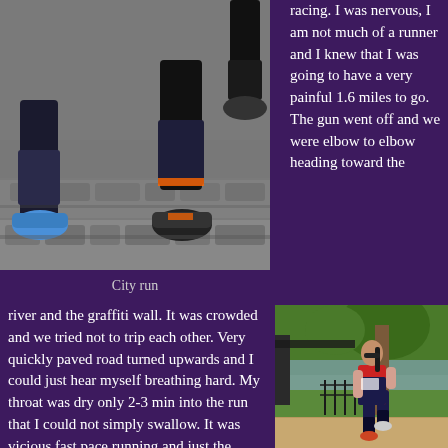[Figure (photo): Close-up photo of runners' feet and legs on cobblestone street during a city run race]
City run
racing. I was nervous, I am not much of a runner and I knew that I was going to have a very painful 1.6 miles to go. The gun went off and we were elbow to elbow heading toward the
river and the graffiti wall. It was crowded and we tried not to trip each other. Very quickly paved road turned upwards and I could just hear myself breathing hard. My throat was dry only 2-3 min into the run that I could not simply swallow. It was vicious fast pace running and just the moment we got to the top we were descending on the steep angle and after some flat section we were going for
[Figure (photo): Woman runner in triathlon gear running along a riverside path with a bridge and trees in background]